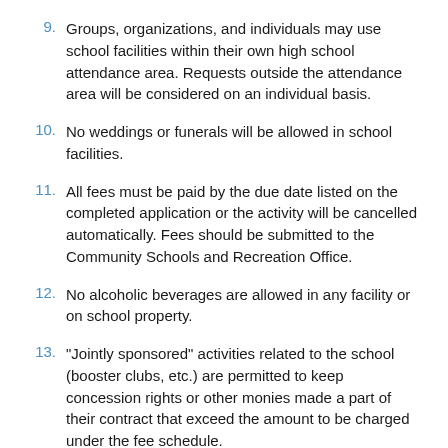9. Groups, organizations, and individuals may use school facilities within their own high school attendance area. Requests outside the attendance area will be considered on an individual basis.
10. No weddings or funerals will be allowed in school facilities.
11. All fees must be paid by the due date listed on the completed application or the activity will be cancelled automatically. Fees should be submitted to the Community Schools and Recreation Office.
12. No alcoholic beverages are allowed in any facility or on school property.
13. “Jointly sponsored” activities related to the school (booster clubs, etc.) are permitted to keep concession rights or other monies made a part of their contract that exceed the amount to be charged under the fee schedule.